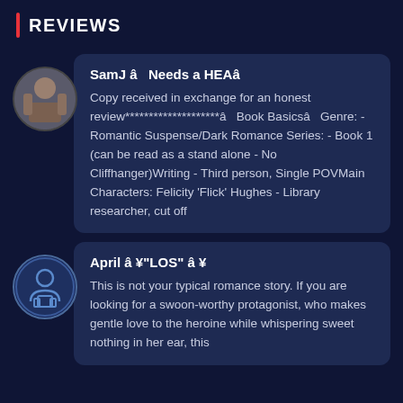REVIEWS
SamJ â   Needs a HEAâ
Copy received in exchange for an honest review********************â   Book Basicsâ   Genre: - Romantic Suspense/Dark Romance Series: - Book 1 (can be read as a stand alone - No Cliffhanger)Writing - Third person, Single POVMain Characters: Felicity 'Flick' Hughes - Library researcher, cut off
April â ¥"LOS" â ¥
This is not your typical romance story. If you are looking for a swoon-worthy protagonist, who makes gentle love to the heroine while whispering sweet nothing in her ear, this